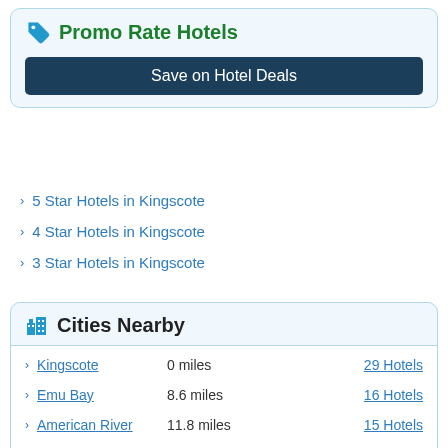Promo Rate Hotels
Save on Hotel Deals
5 Star Hotels in Kingscote
4 Star Hotels in Kingscote
3 Star Hotels in Kingscote
Cities Nearby
| City | Distance | Hotels |
| --- | --- | --- |
| Kingscote | 0 miles | 29 Hotels |
| Emu Bay | 8.6 miles | 16 Hotels |
| American River | 11.8 miles | 15 Hotels |
| Kangaroo Island | 16.6 miles | 27 Hotels |
Show More Cities
Airports Nearby
Kingscote Airport   8.1 miles   KGC